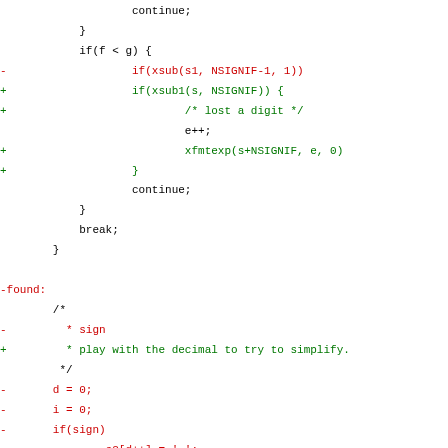Code diff showing changes to floating point formatting logic, including xsub/xsub1, xfmtexp, sign handling, and copy into final place sections.